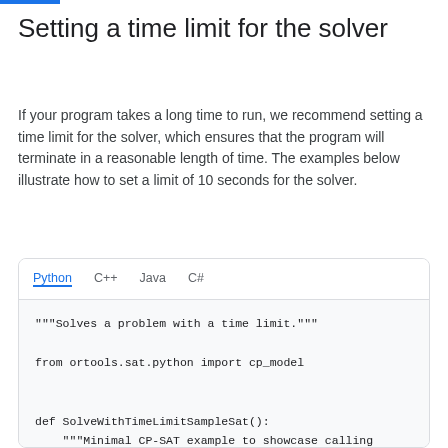Setting a time limit for the solver
If your program takes a long time to run, we recommend setting a time limit for the solver, which ensures that the program will terminate in a reasonable length of time. The examples below illustrate how to set a limit of 10 seconds for the solver.
[Figure (screenshot): Code panel with tabs: Python (active), C++, Java, C#. Python code shown: """Solves a problem with a time limit."""  from ortools.sat.python import cp_model  def SolveWithTimeLimitSampleSat():     """Minimal CP-SAT example to showcase calling     # Creates the model.]